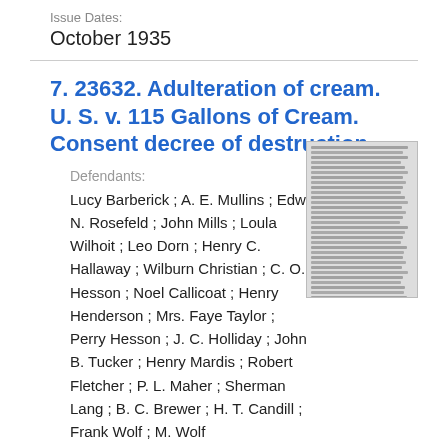Issue Dates:
October 1935
7. 23632. Adulteration of cream. U. S. v. 115 Gallons of Cream. Consent decree of destruction.
Defendants:
Lucy Barberick ; A. E. Mullins ; Edw. N. Rosefeld ; John Mills ; Loula Wilhoit ; Leo Dorn ; Henry C. Hallaway ; Wilburn Christian ; C. O. Hesson ; Noel Callicoat ; Henry Henderson ; Mrs. Faye Taylor ; Perry Hesson ; J. C. Holliday ; John B. Tucker ; Henry Mardis ; Robert Fletcher ; P. L. Maher ; Sherman Lang ; B. C. Brewer ; H. T. Candill ; Frank Wolf ; M. Wolf
[Figure (other): Thumbnail image of document text]